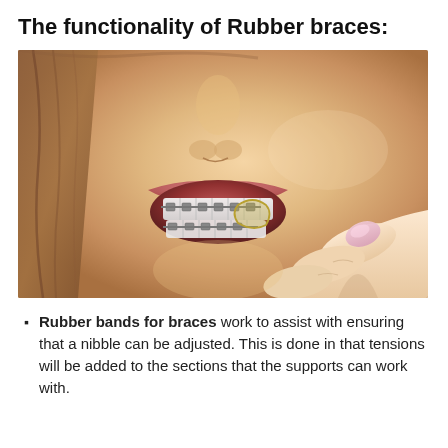The functionality of Rubber braces:
[Figure (photo): Close-up photo of a person placing a rubber band on dental braces, showing teeth with metal brackets and wire, and a hand with painted fingernail placing an elastic rubber band.]
Rubber bands for braces work to assist with ensuring that a nibble can be adjusted. This is done in that tensions will be added to the sections that the supports can work with.